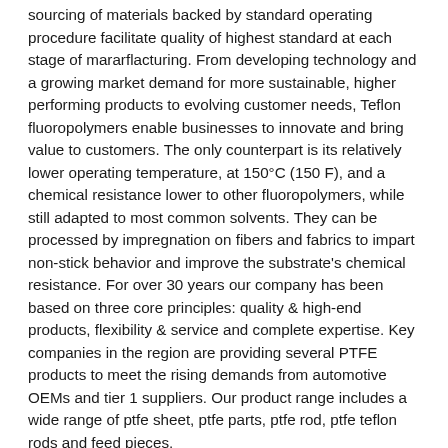sourcing of materials backed by standard operating procedure facilitate quality of highest standard at each stage of mararflacturing. From developing technology and a growing market demand for more sustainable, higher performing products to evolving customer needs, Teflon fluoropolymers enable businesses to innovate and bring value to customers. The only counterpart is its relatively lower operating temperature, at 150°C (150 F), and a chemical resistance lower to other fluoropolymers, while still adapted to most common solvents. They can be processed by impregnation on fibers and fabrics to impart non-stick behavior and improve the substrate's chemical resistance. For over 30 years our company has been based on three core principles: quality & high-end products, flexibility & service and complete expertise. Key companies in the region are providing several PTFE products to meet the rising demands from automotive OEMs and tier 1 suppliers. Our product range includes a wide range of ptfe sheet, ptfe parts, ptfe rod, ptfe teflon rods and feed pieces.